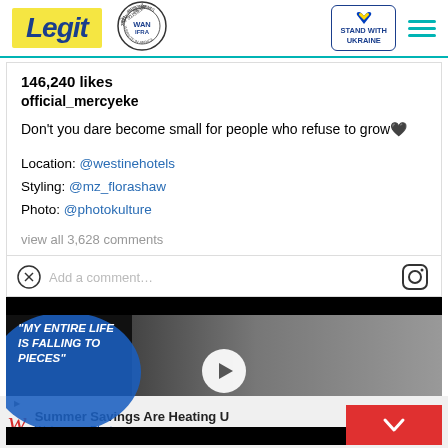Legit | WAN IFRA 2021 Best News Website in Africa | Stand with Ukraine
146,240 likes
official_mercyeke
Don’t you dare become small for people who refuse to grow💜
Location: @westinehotels
Styling: @mz_florashaw
Photo: @photokulture
view all 3,628 comments
Add a comment…
[Figure (screenshot): Video thumbnail with text 'MY ENTIRE LIFE IS FALLING TO PIECES' overlaid on a dark background with a man in a suit and a woman, with a white play button circle in the center, and a red down-arrow box at bottom right.]
[Figure (other): Walgreens Photo advertisement banner: Summer Savings Are Heating U, Walgreens Photo, with blue navigation arrow icon.]